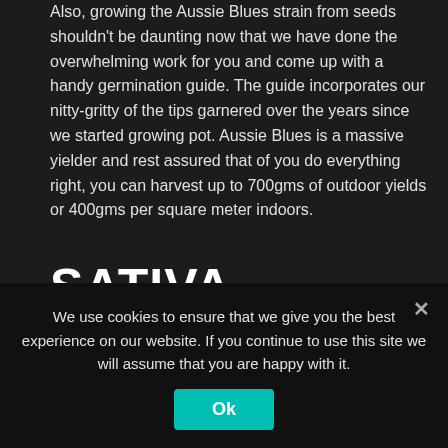Also, growing the Aussie Blues strain from seeds shouldn't be daunting now that we have done the overwhelming work for you and come up with a handy germination guide. The guide incorporates our nitty-gritty of the tips garnered over the years since we started growing pot. Aussie Blues is a massive yielder and rest assured that of you do everything right, you can harvest up to 700gms of outdoor yields or 400gms per square meter indoors.
SATIVA HYBRID STRAINS THAT GROW WELL OUTDOORS
We use cookies to ensure that we give you the best experience on our website. If you continue to use this site we will assume that you are happy with it.